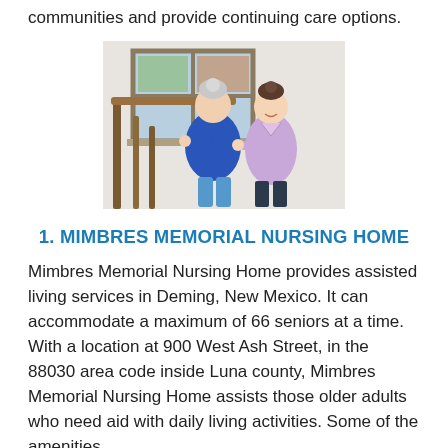communities and provide continuing care options.
[Figure (photo): A nurse in a light purple uniform assists an elderly woman with white hair walking near a wooden staircase railing. There are stained glass windows in the background.]
1. MIMBRES MEMORIAL NURSING HOME
Mimbres Memorial Nursing Home provides assisted living services in Deming, New Mexico. It can accommodate a maximum of 66 seniors at a time. With a location at 900 West Ash Street, in the 88030 area code inside Luna county, Mimbres Memorial Nursing Home assists those older adults who need aid with daily living activities. Some of the amenities